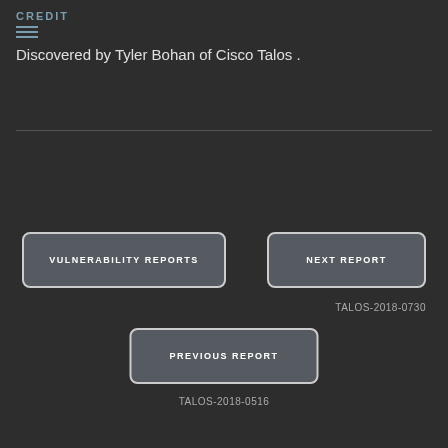CREDIT
Discovered by Tyler Bohan of Cisco Talos .
VULNERABILITY REPORTS
NEXT REPORT
TALOS-2018-0730
PREVIOUS REPORT
TALOS-2018-0516